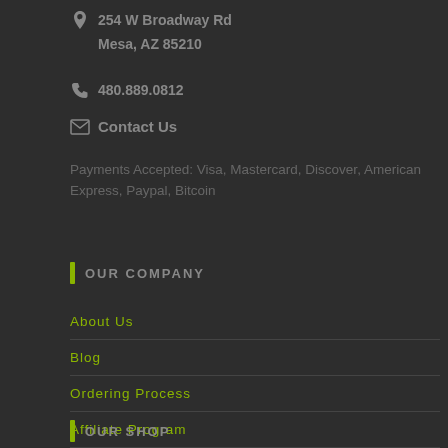254 W Broadway Rd
Mesa, AZ 85210
480.889.0812
Contact Us
Payments Accepted: Visa, Mastercard, Discover, American Express, Paypal, Bitcoin
OUR COMPANY
About Us
Blog
Ordering Process
Affiliate Program
OUR SHOP